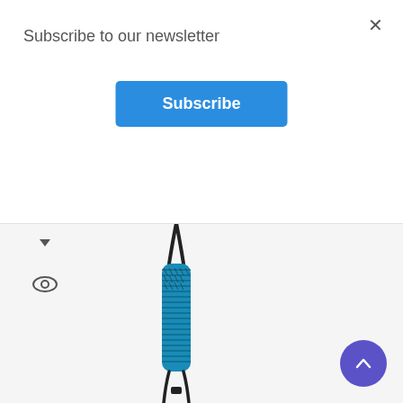Subscribe to our newsletter
Subscribe
[Figure (screenshot): A blue and black braided paracord lanyard/strap with a loop at the top and adjustable knot at the bottom, shown on a white background. Left side shows small navigation icons (dropdown arrow and eye icon).]